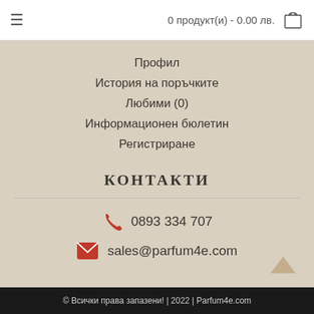≡  0 продукт(и) - 0.00 лв.
Профил
История на поръчките
Любими (0)
Информационен бюлетин
Регистриране
КОНТАКТИ
0893 334 707
sales@parfum4e.com
© Всички права запазени! | 2022 | Parfum4e.com